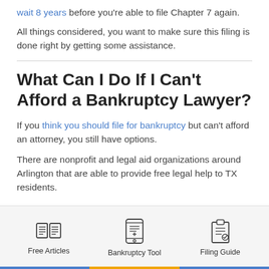wait 8 years before you're able to file Chapter 7 again.
All things considered, you want to make sure this filing is done right by getting some assistance.
What Can I Do If I Can't Afford a Bankruptcy Lawyer?
If you think you should file for bankruptcy but can't afford an attorney, you still have options.
There are nonprofit and legal aid organizations around Arlington that are able to provide free legal help to TX residents.
[Figure (infographic): Bottom navigation bar with three icons: Free Articles (open book icon), Bankruptcy Tool (smartphone icon), Filing Guide (clipboard icon)]